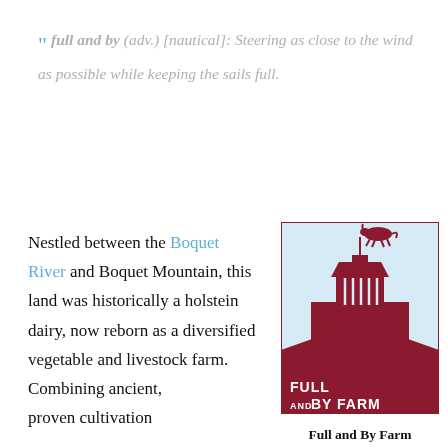" full and by (adv.) [nautical]: Steering as close to the wind as possible while keeping the sails full.
Nestled between the Boquet River and Boquet Mountain, this land was historically a holstein dairy, now reborn as a diversified vegetable and livestock farm. Combining ancient, proven cultivation...
[Figure (logo): Full and By Farm logo: dark red/maroon illustration of a barn cupola with a horse weather vane on a light blue background, with bold text 'FULL AND BY FARM' at the bottom in white on maroon.]
Full and By Farm Logo